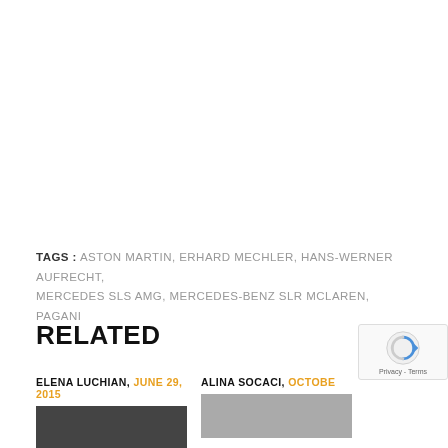TAGS : ASTON MARTIN, ERHARD MECHLER, HANS-WERNER AUFRECHT, MERCEDES SLS AMG, MERCEDES-BENZ SLR MCLAREN, PAGANI
RELATED
ELENA LUCHIAN, JUNE 29, 2015
[Figure (photo): Thumbnail image partially visible, dark toned]
ALINA SOCACI, OCTOBER ...
[Figure (photo): Thumbnail image partially visible, lighter toned]